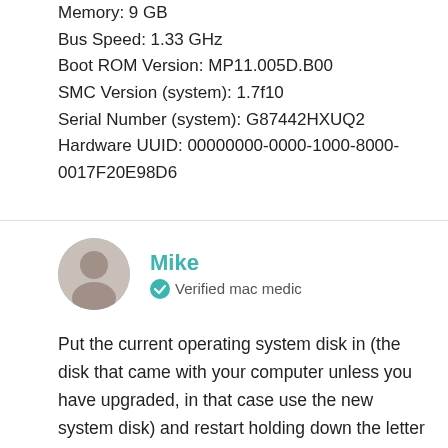Memory: 9 GB
Bus Speed: 1.33 GHz
Boot ROM Version: MP11.005D.B00
SMC Version (system): 1.7f10
Serial Number (system): G87442HXUQ2
Hardware UUID: 00000000-0000-1000-8000-0017F20E98D6
[Figure (photo): Circular avatar photo of a man named Mike]
Mike
Verified mac medic
Put the current operating system disk in (the disk that came with your computer unless you have upgraded, in that case use the new system disk) and restart holding down the letter C key until you see the Apple logo. Choose your language then you get to the install screen DO NOT INSTALL, you will see at the top of the screen a Utilities menu drop down. Go the Disk Utility. Highlight